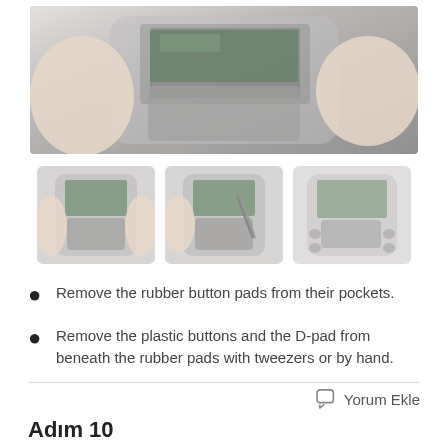[Figure (photo): Main large photo showing hands holding open Game Boy Advance SP device with internal components visible, including circuit board and rubber pad area]
[Figure (photo): Thumbnail 1: Hands holding open Game Boy Advance SP showing internal components]
[Figure (photo): Thumbnail 2: Open Game Boy Advance SP with tweezers accessing internal area]
[Figure (photo): Thumbnail 3: Game Boy Advance SP open showing button pads removed]
Remove the rubber button pads from their pockets.
Remove the plastic buttons and the D-pad from beneath the rubber pads with tweezers or by hand.
Yorum Ekle
Adım 10